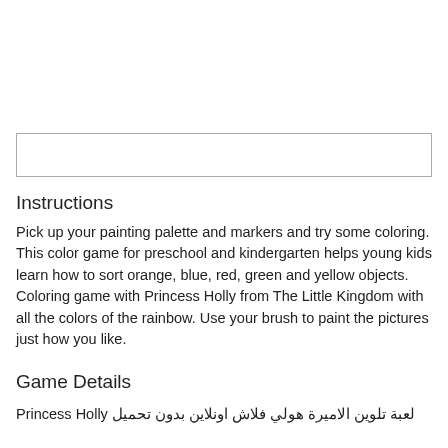[Figure (other): Empty input/search box with border]
Instructions
Pick up your painting palette and markers and try some coloring. This color game for preschool and kindergarten helps young kids learn how to sort orange, blue, red, green and yellow objects. Coloring game with Princess Holly from The Little Kingdom with all the colors of the rainbow. Use your brush to paint the pictures just how you like.
Game Details
Princess Holly لعبة تلوين الاميرة هولي فلاش اونلاين بدون تحميل